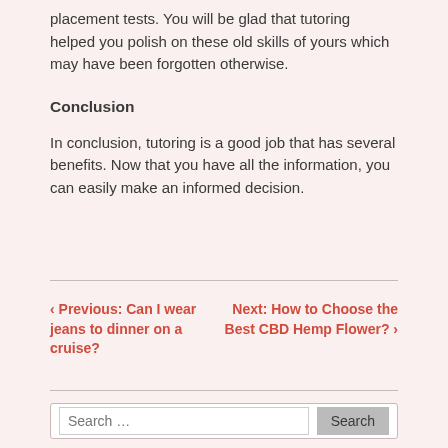placement tests. You will be glad that tutoring helped you polish on these old skills of yours which may have been forgotten otherwise.
Conclusion
In conclusion, tutoring is a good job that has several benefits. Now that you have all the information, you can easily make an informed decision.
‹ Previous: Can I wear jeans to dinner on a cruise?
Next: How to Choose the Best CBD Hemp Flower? ›